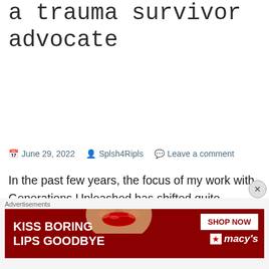a trauma survivor advocate
June 29, 2022   Splsh4Ripls   Leave a comment
In the past few years, the focus of my work with Generations Unleashed has shifted quite dramatically, though it is still very survivor-support oriented. It began with the car crash in 2019 limiting my ability to carry on with seminars as I had been, and then Covid hit. Since
[Figure (other): Advertisement banner: Macy's lip product ad reading 'KISS BORING LIPS GOODBYE' with SHOP NOW button and Macy's logo]